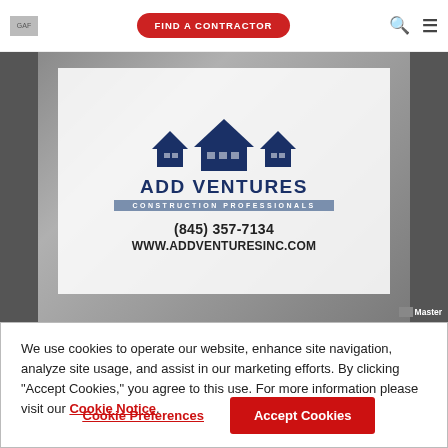GAF | FIND A CONTRACTOR
[Figure (logo): Add Ventures Construction Professionals logo with house roofline icons, company name, phone (845) 357-7134, and website WWW.ADDVENTURESINC.COM, overlaid on a construction desk photo background]
We use cookies to operate our website, enhance site navigation, analyze site usage, and assist in our marketing efforts. By clicking "Accept Cookies," you agree to this use. For more information please visit our Cookie Notice.
Cookie Preferences
Accept Cookies